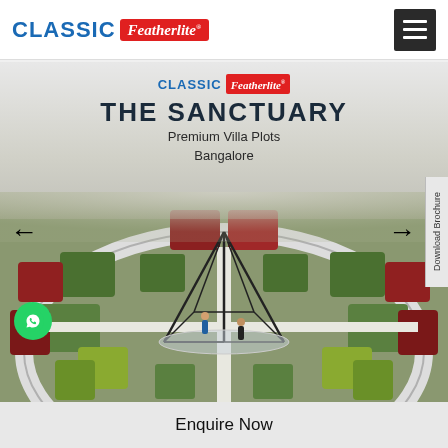[Figure (logo): Classic Featherlite logo — 'CLASSIC' in bold blue, 'Featherlite' in white italic on red background]
[Figure (illustration): Hamburger menu icon (three horizontal lines) on dark grey square background, top-right of header]
[Figure (photo): Classic Featherlite – The Sanctuary – Premium Villa Plots Bangalore. Aerial rendered view of landscape garden with geometric topiary, a glass/steel pavilion structure, two human figures, surrounded by colorful foliage. Navigation arrows left and right. Download Brochure tab on right edge. WhatsApp button bottom-left.]
Enquire Now